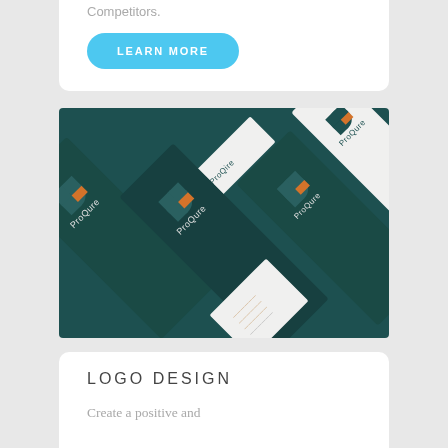Competitors.
LEARN MORE
[Figure (photo): Multiple dark teal ProQure branded business cards arranged diagonally, showing the ProQure logo (a circle divided into quadrants with an orange accent) and the ProQure name in white text on dark teal backgrounds, with some white-backed cards also visible.]
LOGO DESIGN
Create a positive and professional impression that keeps your business in your